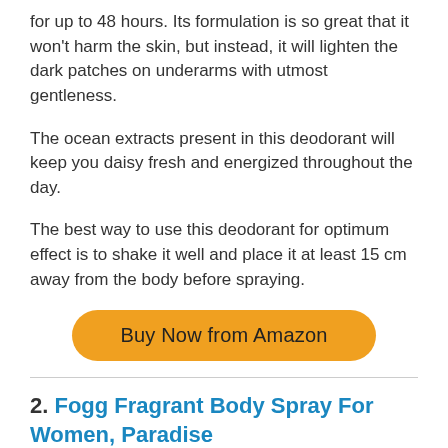for up to 48 hours. Its formulation is so great that it won't harm the skin, but instead, it will lighten the dark patches on underarms with utmost gentleness.
The ocean extracts present in this deodorant will keep you daisy fresh and energized throughout the day.
The best way to use this deodorant for optimum effect is to shake it well and place it at least 15 cm away from the body before spraying.
Buy Now from Amazon
2. Fogg Fragrant Body Spray For Women, Paradise